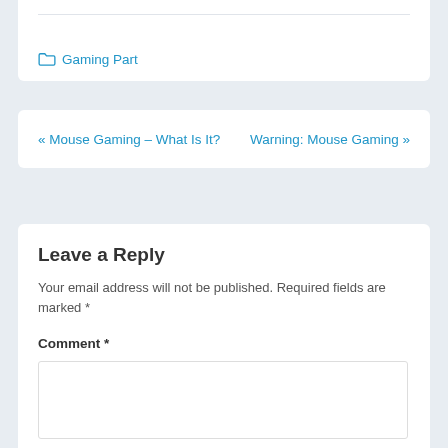Gaming Part
« Mouse Gaming – What Is It?    Warning: Mouse Gaming »
Leave a Reply
Your email address will not be published. Required fields are marked *
Comment *